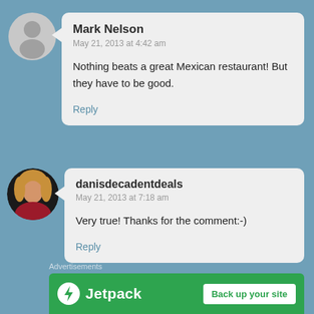[Figure (illustration): Grey placeholder avatar circle for Mark Nelson]
Mark Nelson
May 21, 2013 at 4:42 am

Nothing beats a great Mexican restaurant! But they have to be good.

Reply
[Figure (photo): Circular photo avatar of a woman with blonde hair for danisdecadentdeals]
danisdecadentdeals
May 21, 2013 at 7:18 am

Very true! Thanks for the comment:-)

Reply
Advertisements
[Figure (logo): Jetpack logo with lightning bolt icon and 'Back up your site' button on green bar]